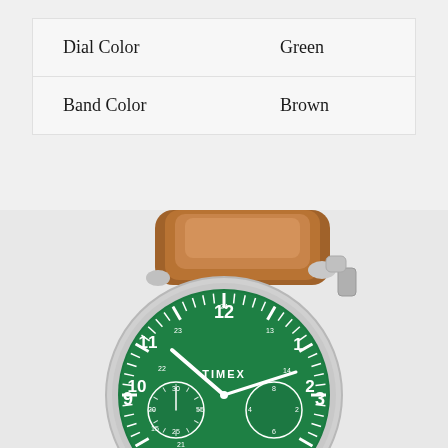| Dial Color | Green |
| Band Color | Brown |
[Figure (photo): Timex Weekender chronograph watch with green dial and brown leather band, silver case, showing CHRONOGRAPH and INDIGLO text at bottom of dial]